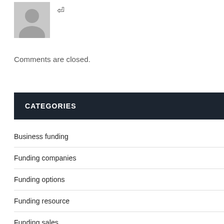[Figure (illustration): Grey placeholder avatar silhouette icon]
Comments are closed.
CATEGORIES
Business funding
Funding companies
Funding options
Funding resource
Funding sales